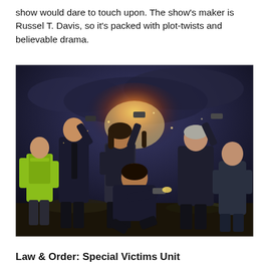show would dare to touch upon. The show's maker is Russel T. Davis, so it's packed with plot-twists and believable drama.
[Figure (photo): Promotional photo of the Torchwood TV show cast. Six characters posed dramatically in a dark, smoky outdoor setting. Characters include people in suits, a woman holding a gun raised, a man in a hi-vis jacket, and others in action poses with guns.]
Law & Order: Special Victims Unit